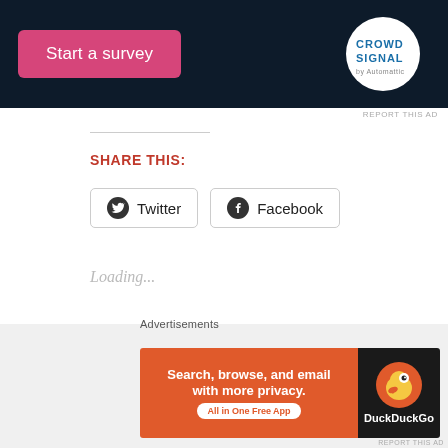[Figure (screenshot): Advertisement banner with dark navy background showing a pink 'Start a survey' button on the left and a Crowdsignal logo on the right]
REPORT THIS AD
SHARE THIS:
Twitter  Facebook
Loading...
RELATED
Dark Tranquillity Albums – Ranked! (From Worst To Best)
Nokturnal Ritual – A Review Retrospective of Underground UK
[Figure (screenshot): DuckDuckGo advertisement: orange section saying 'Search, browse, and email with more privacy. All in One Free App' and dark section with DuckDuckGo logo]
Advertisements
REPORT THIS AD